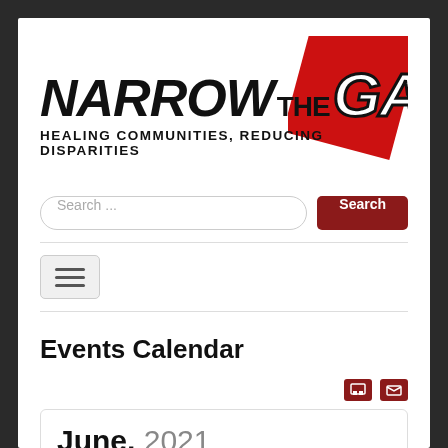[Figure (logo): Narrow the Gap! Healing Communities, Reducing Disparities logo with red diamond shape behind GAP! text]
Search ...
[Figure (screenshot): Hamburger menu button with three horizontal lines]
Events Calendar
June, 2021